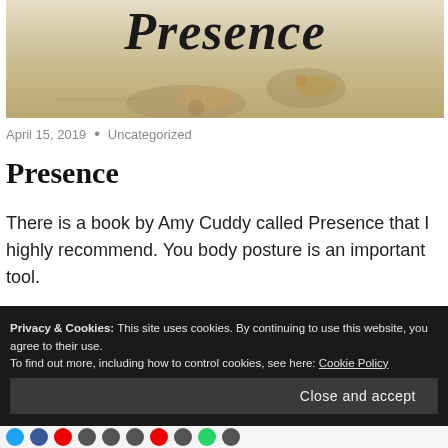[Figure (photo): Book cover image showing the word 'Presence' in cursive/calligraphy script over a textured beige/tan background with aged paper look]
April 15, 2019 • Uncategorized
Presence
There is a book by Amy Cuddy called Presence that I highly recommend. You body posture is an important tool.
Privacy & Cookies: This site uses cookies. By continuing to use this website, you agree to their use.
To find out more, including how to control cookies, see here: Cookie Policy
Close and accept